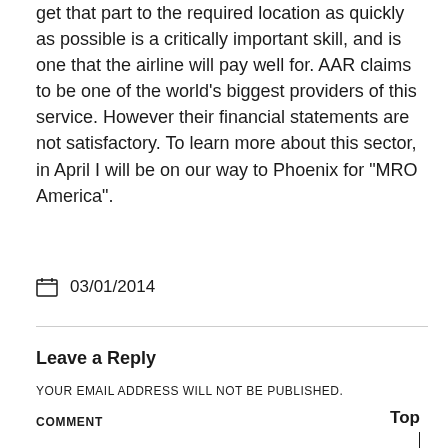get that part to the required location as quickly as possible is a critically important skill, and is one that the airline will pay well for. AAR claims to be one of the world's biggest providers of this service. However their financial statements are not satisfactory. To learn more about this sector, in April I will be on our way to Phoenix for “MRO America”.
03/01/2014
Leave a Reply
YOUR EMAIL ADDRESS WILL NOT BE PUBLISHED.
COMMENT